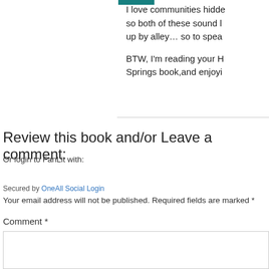I love communities hidde so both of these sound l up by alley… so to spea
BTW, I'm reading your H Springs book,and enjoyi
Review this book and/or Leave a comment:
Or login to FanLit with:
Secured by OneAll Social Login
Your email address will not be published. Required fields are marked *
Comment *